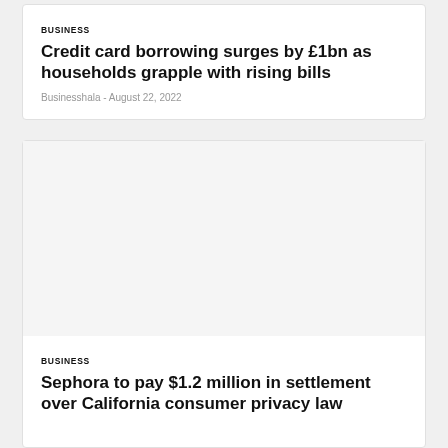BUSINESS
Credit card borrowing surges by £1bn as households grapple with rising bills
Businesshala  -  August 22, 2022
[Figure (photo): Blank/placeholder image area for second article]
BUSINESS
Sephora to pay $1.2 million in settlement over California consumer privacy law